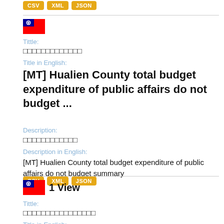CSV XML JSON
Title:
花蓮縣政府公共事務總預算不做預算...
[MT] Hualien County total budget expenditure of public affairs do not budget ...
Description:
花蓮縣公共事務總預算摘要
Description in English:
[MT] Hualien County total budget expenditure of public affairs do not budget summary
CSV XML JSON
1 View
Tittle:
花蓮縣政府公共事務總預算不做預算彙總
Title in English: